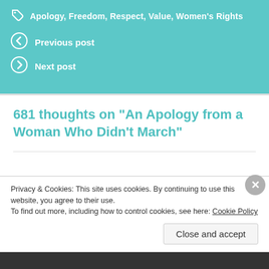Apology, Freedom, Respect, Value, Women's Rights
Previous post
Next post
681 thoughts on “An Apology from a Woman Who Didn’t March”
Angela M Sapp
Privacy & Cookies: This site uses cookies. By continuing to use this website, you agree to their use.
To find out more, including how to control cookies, see here: Cookie Policy
Close and accept